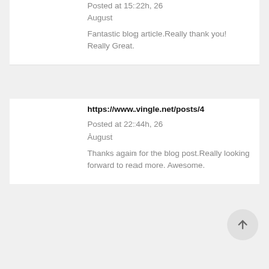Posted at 15:22h, 26 August
Fantastic blog article.Really thank you! Really Great.
https://www.vingle.net/posts/4
Posted at 22:44h, 26 August
Thanks again for the blog post.Really looking forward to read more. Awesome.